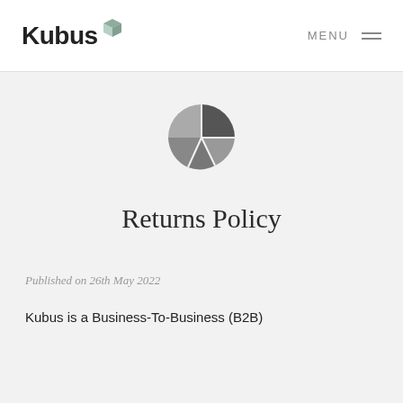[Figure (logo): Kubus company logo with 3D cube icon and wordmark text]
[Figure (logo): Kubus circular pinwheel/pie-slice icon in dark grey tones]
Returns Policy
Published on 26th May 2022
Kubus is a Business-To-Business (B2B)